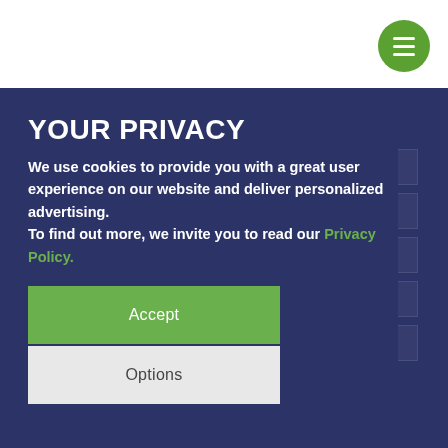[Figure (logo): 24-7 Intouch company logo with stylized dots and company name]
[Figure (other): Green circular hamburger menu button with three white horizontal lines]
YOUR PRIVACY
We use cookies to provide you with a great user experience on our website and deliver personalized advertising.
To find out more, we invite you to read our Privacy Policy.
Accept
Options